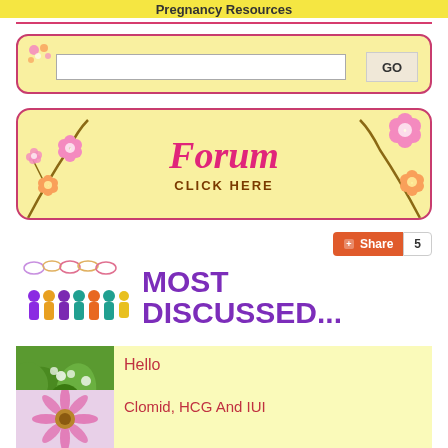Pregnancy Resources
[Figure (screenshot): Search box with flower decoration and GO button, yellow background with pink border]
[Figure (illustration): Forum banner with floral decorations, text reads Forum CLICK HERE]
[Figure (infographic): Share button (orange) with count of 5]
[Figure (infographic): Most Discussed... banner with colorful people icons and purple text]
Hello
Clomid, HCG And IUI